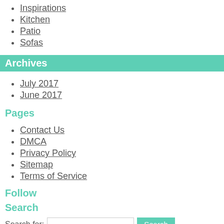Inspirations
Kitchen
Patio
Sofas
Archives
July 2017
June 2017
Pages
Contact Us
DMCA
Privacy Policy
Sitemap
Terms of Service
Follow
Search
Search for:
Copyright © 2018 Whereishemsworth.com. All rights reserved.